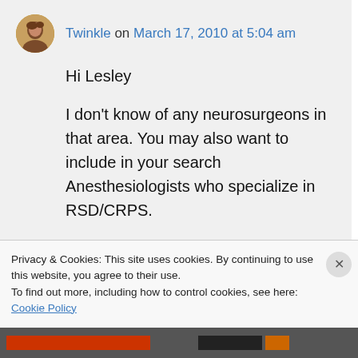[Figure (photo): Small circular avatar photo of user Twinkle]
Twinkle on March 17, 2010 at 5:04 am
Hi Lesley
I don't know of any neurosurgeons in that area. You may also want to include in your search Anesthesiologists who specialize in RSD/CRPS.
My own pain management doctor is also an anesthesiologist as well. He prescribes my
Privacy & Cookies: This site uses cookies. By continuing to use this website, you agree to their use.
To find out more, including how to control cookies, see here: Cookie Policy
Close and accept